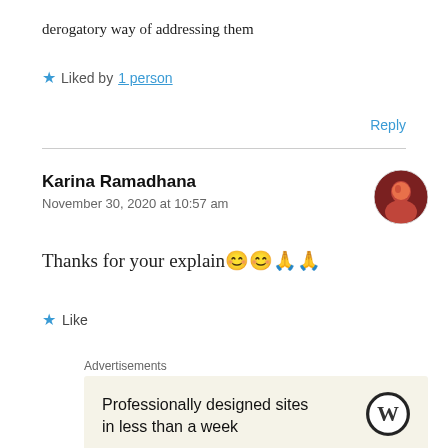derogatory way of addressing them
★ Liked by 1 person
Reply
Karina Ramadhana
November 30, 2020 at 10:57 am
Thanks for your explain😊😊🙏🙏
★ Like
Advertisements
Professionally designed sites in less than a week
REPORT THIS AD